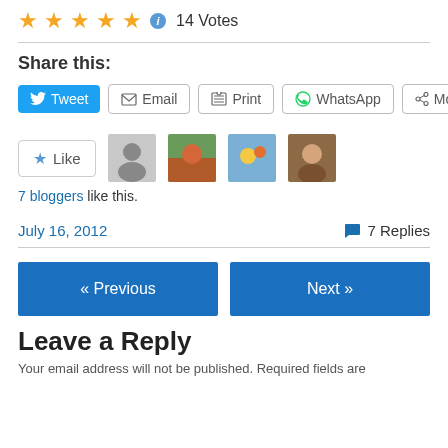★★★★★ ℹ 14 Votes
Share this:
Tweet  Email  Print  WhatsApp  More
[Figure (other): Like button and avatar thumbnails of 7 bloggers who liked the post]
7 bloggers like this.
July 16, 2012   🗨 7 Replies
« Previous
Next »
Leave a Reply
Your email address will not be published. Required fields are